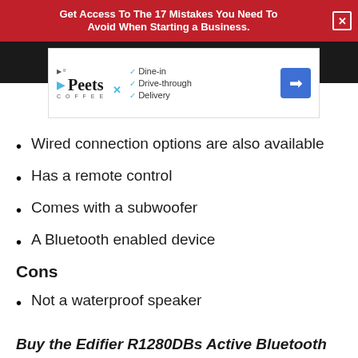Get Access To The 17 Mistakes You Need To Avoid When Starting a Business.
[Figure (screenshot): Peet's Coffee advertisement showing Dine-in, Drive-through, Delivery options with a blue navigation icon]
Wired connection options are also available
Has a remote control
Comes with a subwoofer
A Bluetooth enabled device
Cons
Not a waterproof speaker
Buy the Edifier R1280DBs Active Bluetooth